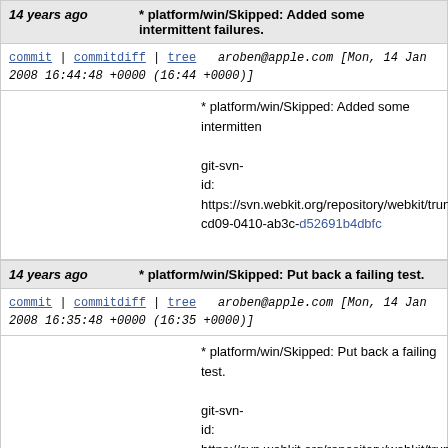14 years ago  * platform/win/Skipped: Added some intermittent failures.
commit | commitdiff | tree   aroben@apple.com [Mon, 14 Jan 2008 16:44:48 +0000 (16:44 +0000)]
* platform/win/Skipped: Added some intermittent...
git-svn-id: https://svn.webkit.org/repository/webkit/trunk@cd09-0410-ab3c-d52691b4dbfc
14 years ago  * platform/win/Skipped: Put back a failing test.
commit | commitdiff | tree   aroben@apple.com [Mon, 14 Jan 2008 16:35:48 +0000 (16:35 +0000)]
* platform/win/Skipped: Put back a failing test.
git-svn-id: https://svn.webkit.org/repository/webkit/trunk@cd09-0410-ab3c-d52691b4dbfc
14 years ago  Reviewed by Adam Roben.
commit | commitdiff | tree   mitz@apple.com [Mon, 14 Jan 2008 15:39:21 +0000 (15:39 +0000)]